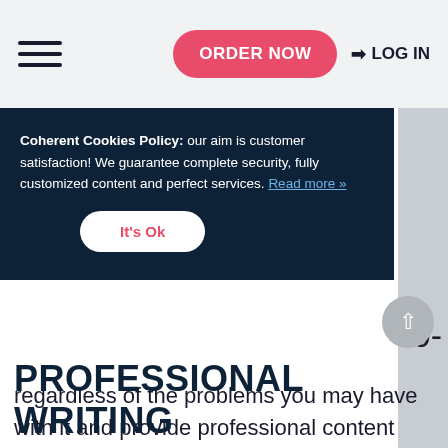ORDER NOW  LOG IN
Coherent Cookies Policy: our aim is customer satisfaction! We guarantee complete security, fully customized content and perfect services. Read more »
It's Ok
regardless of the problems you may have with it and provide professional content based on your requirements. Working with us means getting what you want! Custom-Paper-Writing.org is your reliable partner in writing academic papers!
PROFESSIONAL WRITING